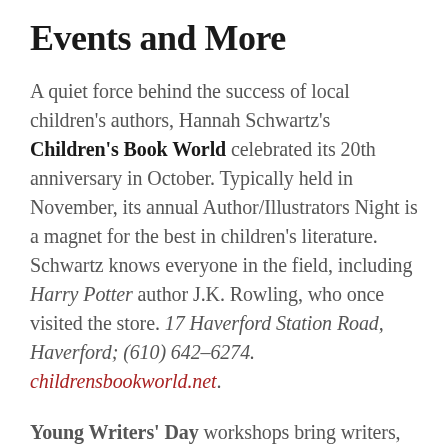Events and More
A quiet force behind the success of local children's authors, Hannah Schwartz's Children's Book World celebrated its 20th anniversary in October. Typically held in November, its annual Author/Illustrators Night is a magnet for the best in children's literature. Schwartz knows everyone in the field, including Harry Potter author J.K. Rowling, who once visited the store. 17 Haverford Station Road, Haverford; (610) 642-6274. childrensbookworld.net.
Young Writers' Day workshops bring writers, illustrators, songwriters and reporters to local